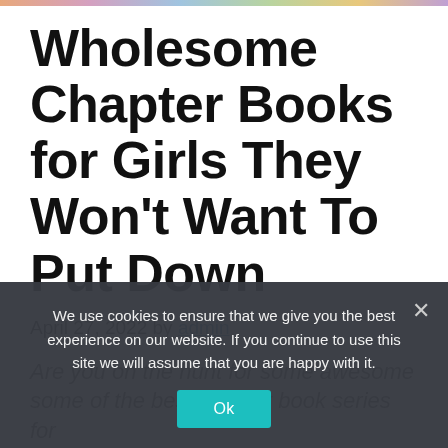[Figure (illustration): Colorful image strip at the top of the page, likely showing book covers]
Wholesome Chapter Books for Girls They Won't Want To Put Down
April 27, 2022 by admin
Are you on the hunt for some awesome some of the best chapter book series for girls!
We use cookies to ensure that we give you the best experience on our website. If you continue to use this site we will assume that you are happy with it.